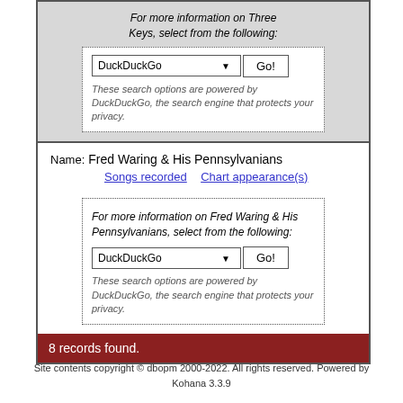For more information on Three Keys, select from the following:
DuckDuckGo  Go!
These search options are powered by DuckDuckGo, the search engine that protects your privacy.
Name:  Fred Waring & His Pennsylvanians
Songs recorded    Chart appearance(s)
For more information on Fred Waring & His Pennsylvanians, select from the following:
DuckDuckGo  Go!
These search options are powered by DuckDuckGo, the search engine that protects your privacy.
8 records found.
Site contents copyright © dbopm 2000-2022. All rights reserved. Powered by Kohana 3.3.9